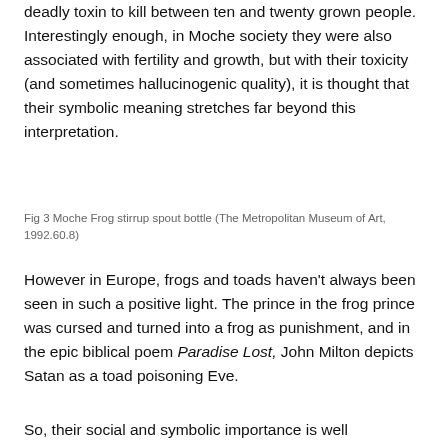deadly toxin to kill between ten and twenty grown people. Interestingly enough, in Moche society they were also associated with fertility and growth, but with their toxicity (and sometimes hallucinogenic quality), it is thought that their symbolic meaning stretches far beyond this interpretation.
Fig 3 Moche Frog stirrup spout bottle (The Metropolitan Museum of Art, 1992.60.8)
However in Europe, frogs and toads haven't always been seen in such a positive light. The prince in the frog prince was cursed and turned into a frog as punishment, and in the epic biblical poem Paradise Lost, John Milton depicts Satan as a toad poisoning Eve.
So, their social and symbolic importance is well